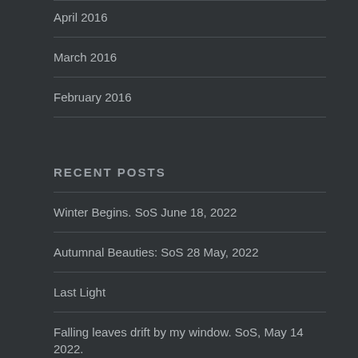April 2016
March 2016
February 2016
RECENT POSTS
Winter Begins. SoS June 18, 2022
Autumnal Beauties: SoS 28 May, 2022
Last Light
Falling leaves drift by my window. SoS, May 14 2022.
Garden visitors #5